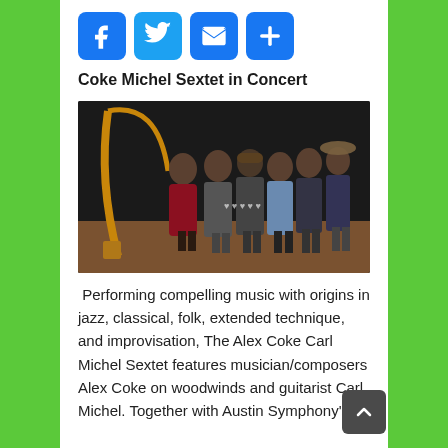[Figure (infographic): Social sharing icons: Facebook (blue), Twitter (light blue), Mail (blue), Plus/Share (blue)]
Coke Michel Sextet in Concert
[Figure (photo): Six musicians standing on a stage with a harp visible on the left, all making heart shapes with their hands]
Performing compelling music with origins in jazz, classical, folk, extended technique, and improvisation, The Alex Coke Carl Michel Sextet features musician/composers Alex Coke on woodwinds and guitarist Carl Michel. Together with Austin Symphony's